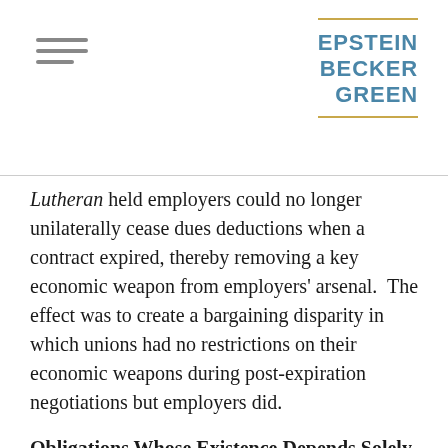EPSTEIN BECKER GREEN
Lutheran held employers could no longer unilaterally cease dues deductions when a contract expired, thereby removing a key economic weapon from employers' arsenal. The effect was to create a bargaining disparity in which unions had no restrictions on their economic weapons during post-expiration negotiations but employers did.
Obligations Whose Existence Depends Solely on the Contract Do Not Survive the Contract
The Board in Valley Hospital Medical Center has now rectified the inequity perpetuated by Lincoln